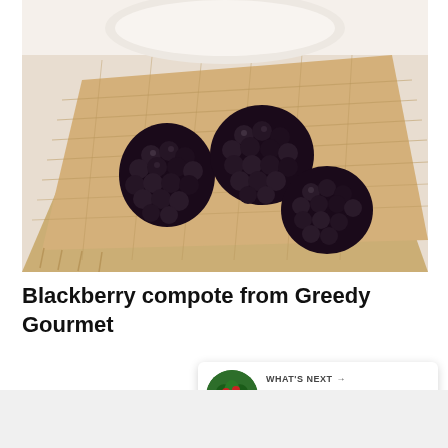[Figure (photo): Close-up photo of three blackberries resting on a burlap/hessian cloth with a white ceramic bowl partially visible at the top, against a white background.]
Blackberry compote from Greedy Gourmet
[Figure (infographic): Heart/like button showing teal circular icon with heart symbol and count of 229, plus a teal share button below it.]
WHAT'S NEXT → How to Grow Raspberries